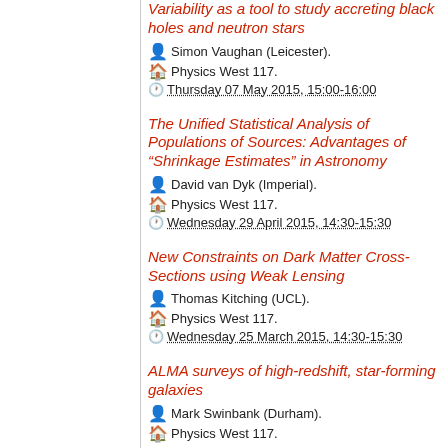Variability as a tool to study accreting black holes and neutron stars
Simon Vaughan (Leicester).
Physics West 117.
Thursday 07 May 2015, 15:00-16:00
The Unified Statistical Analysis of Populations of Sources: Advantages of “Shrinkage Estimates” in Astronomy
David van Dyk (Imperial).
Physics West 117.
Wednesday 29 April 2015, 14:30-15:30
New Constraints on Dark Matter Cross-Sections using Weak Lensing
Thomas Kitching (UCL).
Physics West 117.
Wednesday 25 March 2015, 14:30-15:30
ALMA surveys of high-redshift, star-forming galaxies
Mark Swinbank (Durham).
Physics West 117.